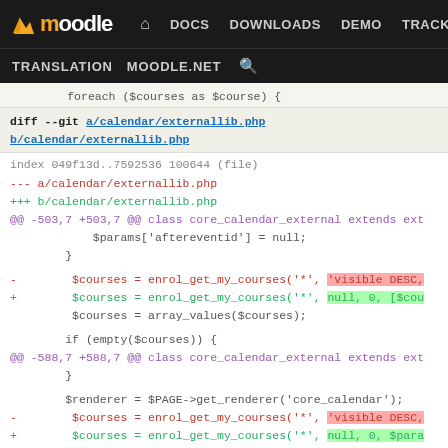[Figure (screenshot): Moodle developer site navigation bar with logo, DOCS, DOWNLOADS, DEMO, TRACKER, DEV links, and TRANSLATION, MOODLE.NET, search sub-navigation]
foreach ($courses as $course) {
diff --git a/calendar/externallib.php b/calendar/externallib.php
index 049f13d..7592536 100644 (file)
--- a/calendar/externallib.php
+++ b/calendar/externallib.php
@@ -503,7 +503,7 @@ class core_calendar_external extends ext
$params['aftereventid'] = null;
}
-        $courses = enrol_get_my_courses('*', 'visible DESC,
+        $courses = enrol_get_my_courses('*', null, 0, [$cou
$courses = array_values($courses);
if (empty($courses)) {
@@ -588,7 +588,7 @@ class core_calendar_external extends ext
}
$renderer = $PAGE->get_renderer('core_calendar');
-        $courses = enrol_get_my_courses('*', 'visible DESC,
+        $courses = enrol_get_my_courses('*', null, 0, $para
$courses = array_values($courses);
if (empty($courses)) {